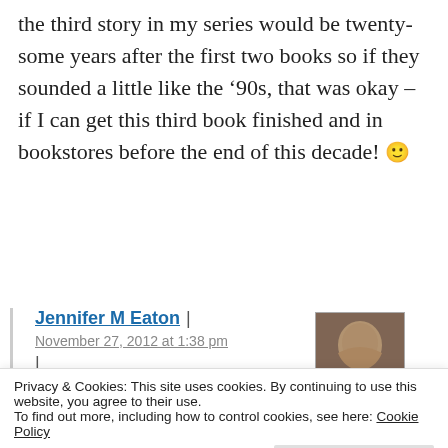the third story in my series would be twenty-some years after the first two books so if they sounded a little like the '90s, that was okay – if I can get this third book finished and in bookstores before the end of this decade! 🙂
Jennifer M Eaton | November 27, 2012 at 1:38 pm
Privacy & Cookies: This site uses cookies. By continuing to use this website, you agree to their use. To find out more, including how to control cookies, see here: Cookie Policy
Close and accept